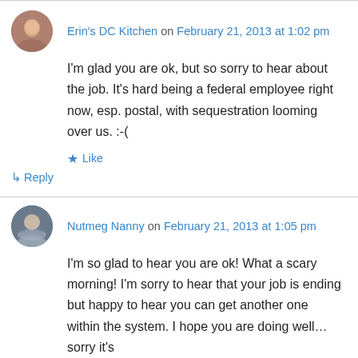Erin's DC Kitchen on February 21, 2013 at 1:02 pm
I'm glad you are ok, but so sorry to hear about the job. It's hard being a federal employee right now, esp. postal, with sequestration looming over us. :-(
★ Like
↳ Reply
Nutmeg Nanny on February 21, 2013 at 1:05 pm
I'm so glad to hear you are ok! What a scary morning! I'm sorry to hear that your job is ending but happy to hear you can get another one within the system. I hope you are doing well…sorry it's